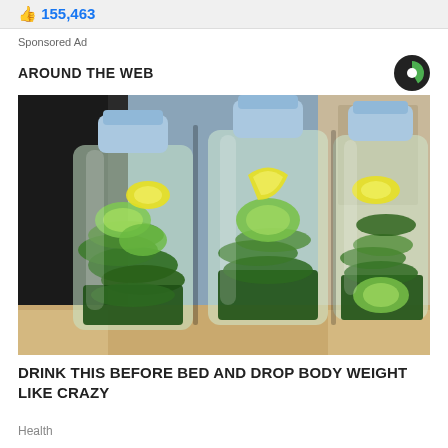155,463
Sponsored Ad
AROUND THE WEB
[Figure (photo): Three clear plastic water bottles filled with green mint leaves, cucumber slices, and lemon slices, sitting on a kitchen counter.]
DRINK THIS BEFORE BED AND DROP BODY WEIGHT LIKE CRAZY
Health